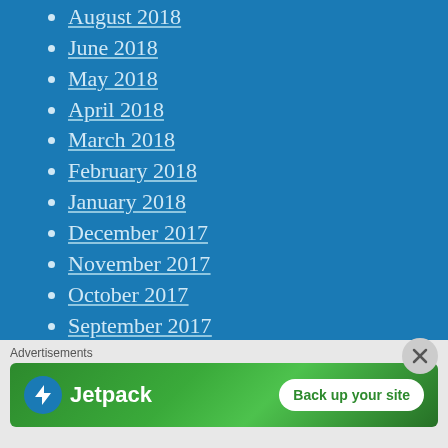August 2018
June 2018
May 2018
April 2018
March 2018
February 2018
January 2018
December 2017
November 2017
October 2017
September 2017
August 2017
July 2017
Advertisements
[Figure (infographic): Jetpack advertisement banner with logo and 'Back up your site' button on green gradient background]